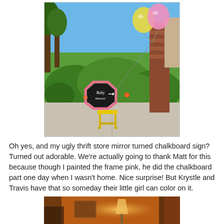[Figure (photo): Outdoor baby shower scene with a chalkboard sign reading 'Baby Shower' with a pink frame on a yellow stool, festive balloons tied to a brick pillar, surrounded by green shrubs and lawn with blue sky.]
Oh yes, and my ugly thrift store mirror turned chalkboard sign? Turned out adorable. We're actually going to thank Matt for this because though I painted the frame pink, he did the chalkboard part one day when I wasn't home. Nice surprise! But Krystle and Travis have that so someday their little girl can color on it.
[Figure (photo): Interior room photo with warm orange/amber lighting, showing a hallway or entryway with a lamp and wooden furniture.]